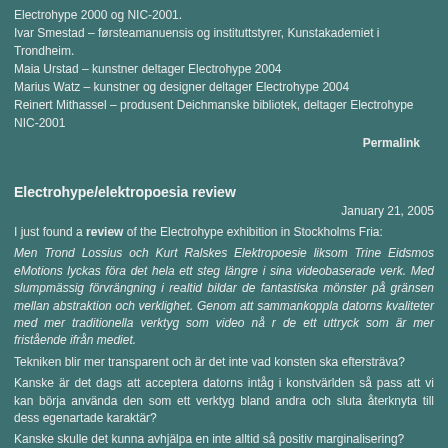Electrohype 2000 og NIC-2001.
Ivar Smestad – førsteamanuensis og instituttstyrer, Kunstakademiet i Trondheim.
Maia Urstad – kunstner deltager Electrohype 2004
Marius Watz – kunstner og designer deltager Electrohype 2004
Reinert Mithassel – produsent Deichmanske bibliotek, deltager Electrohype NIC-2001
Permalink
Electrohype/elektropoesia review
January 21, 2005
I just found a review of the Electrohype exhibition in Stockholms Fria:
Men Trond Lossius och Kurt Ralskes Elektropoesie liksom Trine Eidsmos eMotions lyckas föra det hela ett steg längre i sina videobaserade verk. Med slumpmässig förvrängning i realtid bildar de fantastiska mönster på gränsen mellan abstraktion och verklighet. Genom att sammankoppla datorns kvaliteter med mer traditionella verktyg som video nå r de ett uttryck som är mer fristående ifrån mediet.
Tekniken blir mer transparent och är det inte vad konsten ska eftersträva?
Kanske är det dags att acceptera datorns intåg i konstvärlden så pass att vi kan börja använda den som ett verktyg bland andra och sluta återknyta till dess egenartade karaktär?
Kanske skulle det kunna avhjälpa en inte alltid så positiv marginalisering?
Permalink